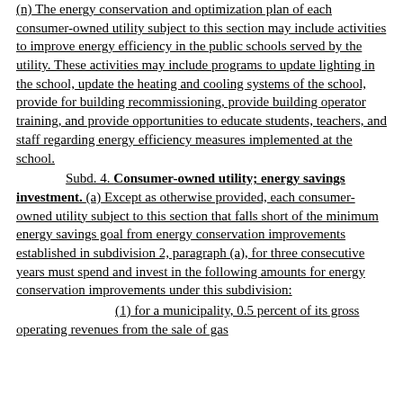(n) The energy conservation and optimization plan of each consumer-owned utility subject to this section may include activities to improve energy efficiency in the public schools served by the utility. These activities may include programs to update lighting in the school, update the heating and cooling systems of the school, provide for building recommissioning, provide building operator training, and provide opportunities to educate students, teachers, and staff regarding energy efficiency measures implemented at the school.
Subd. 4. Consumer-owned utility; energy savings investment. (a) Except as otherwise provided, each consumer-owned utility subject to this section that falls short of the minimum energy savings goal from energy conservation improvements established in subdivision 2, paragraph (a), for three consecutive years must spend and invest in the following amounts for energy conservation improvements under this subdivision:
(1) for a municipality, 0.5 percent of its gross operating revenues from the sale of gas